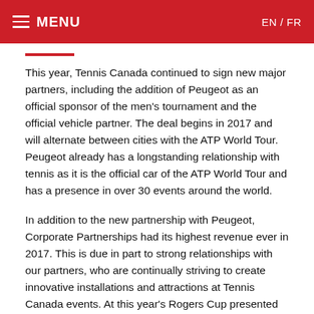MENU   EN / FR
This year, Tennis Canada continued to sign new major partners, including the addition of Peugeot as an official sponsor of the men's tournament and the official vehicle partner. The deal begins in 2017 and will alternate between cities with the ATP World Tour. Peugeot already has a longstanding relationship with tennis as it is the official car of the ATP World Tour and has a presence in over 30 events around the world.
In addition to the new partnership with Peugeot, Corporate Partnerships had its highest revenue ever in 2017. This is due in part to strong relationships with our partners, who are continually striving to create innovative installations and attractions at Tennis Canada events. At this year's Rogers Cup presented by National Bank, much to the delight of the passionate fans, Nespresso returned with an exceptional café situated close to the main entrance of the Montreal site. Aperol, which became a partner in both Montreal and Toronto this year, offered the thousands of people on site a variety of delicious cocktails to quench their thirst